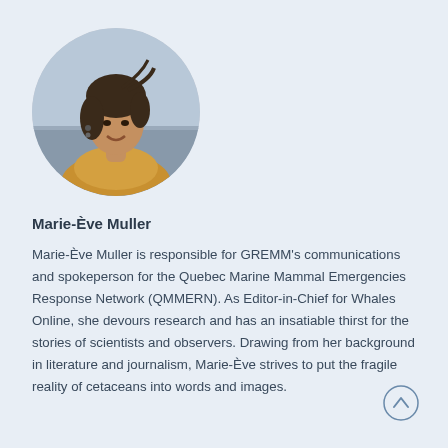[Figure (photo): Circular portrait photo of Marie-Ève Muller, a young woman with dark wavy hair, smiling, wearing a yellow/orange scarf, with a beach/water background.]
Marie-Ève Muller
Marie-Ève Muller is responsible for GREMM's communications and spokeperson for the Quebec Marine Mammal Emergencies Response Network (QMMERN). As Editor-in-Chief for Whales Online, she devours research and has an insatiable thirst for the stories of scientists and observers. Drawing from her background in literature and journalism, Marie-Ève strives to put the fragile reality of cetaceans into words and images.